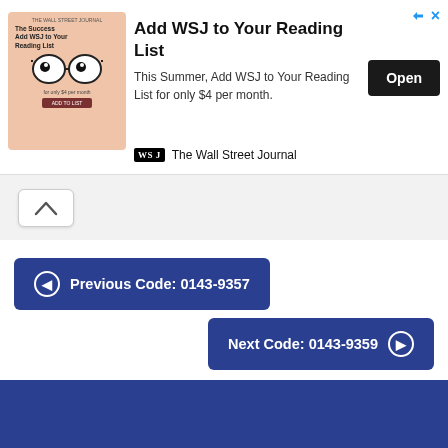[Figure (screenshot): WSJ advertisement banner: 'Add WSJ to Your Reading List' with promotional image, Open button, and WSJ logo]
[Figure (other): Collapse/chevron-up button in a rounded white box on a light gray background]
Previous Code: 0143-9357
Next Code: 0143-9359